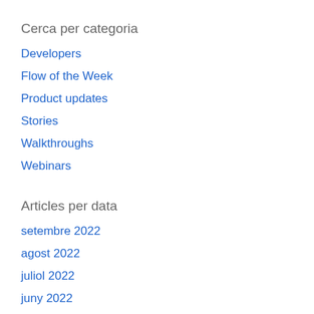Cerca per categoria
Developers
Flow of the Week
Product updates
Stories
Walkthroughs
Webinars
Articles per data
setembre 2022
agost 2022
juliol 2022
juny 2022